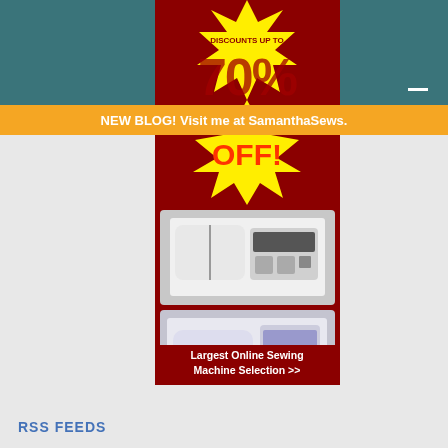[Figure (infographic): Advertisement banner for sewing machines featuring 'DISCOUNTS UP TO 70% OFF!' in yellow starburst on dark red background, with two sewing machine product photos and text 'Largest Online Sewing Machine Selection >>']
NEW BLOG! Visit me at SamanthaSews.
RSS FEEDS